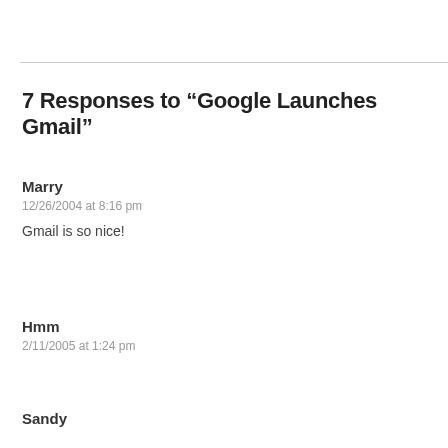7 Responses to “Google Launches Gmail”
Marry
12/26/2004 at 8:16 pm

Gmail is so nice!
Hmm
2/11/2005 at 1:24 pm
Sandy